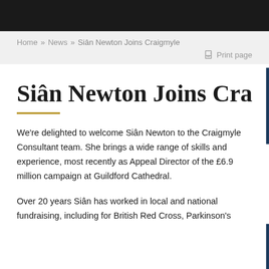Home » News » Siân Newton Joins Craigmyle
Siân Newton Joins Craigmyle
We're delighted to welcome Siân Newton to the Craigmyle Consultant team. She brings a wide range of skills and experience, most recently as Appeal Director of the £6.9 million campaign at Guildford Cathedral.
Over 20 years Siân has worked in local and national fundraising, including for British Red Cross, Parkinson's